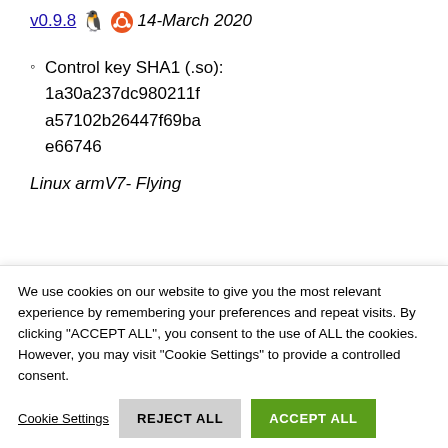v0.9.8 🐧 🔴 14-March 2020
Control key SHA1 (.so): 1a30a237dc980211fa57102b26447f69bae66746
Linux armV7- Flying
We use cookies on our website to give you the most relevant experience by remembering your preferences and repeat visits. By clicking "ACCEPT ALL", you consent to the use of ALL the cookies. However, you may visit "Cookie Settings" to provide a controlled consent.
Cookie Settings | REJECT ALL | ACCEPT ALL